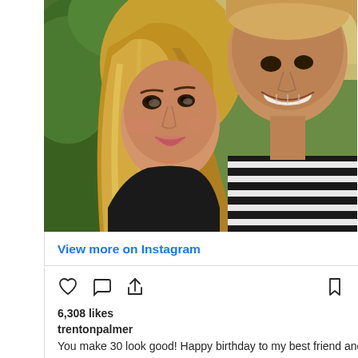[Figure (photo): Instagram post photo showing a smiling blonde woman and a man wearing a black and white striped shirt, taking a selfie outdoors with green foliage in the background]
View more on Instagram
[Figure (infographic): Instagram action icons: heart (like), comment bubble, share arrow, and bookmark]
6,308 likes
trentonpalmer
You make 30 look good! Happy birthday to my best friend and